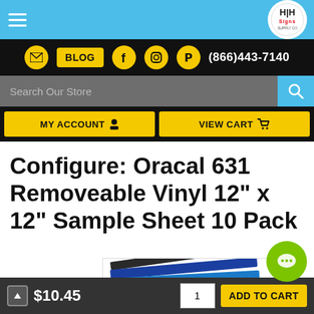H&H Signs - navigation header with hamburger menu and logo
BLOG | (866)443-7140 | social media icons
Search Our Store
MY ACCOUNT | VIEW CART
Configure: Oracal 631 Removeable Vinyl 12" x 12" Sample Sheet 10 Pack
[Figure (photo): Product image showing stacked vinyl sheets in various colors including blue, black, white, and red with Oracal branding]
$10.45  [quantity: 1]  ADD TO CART